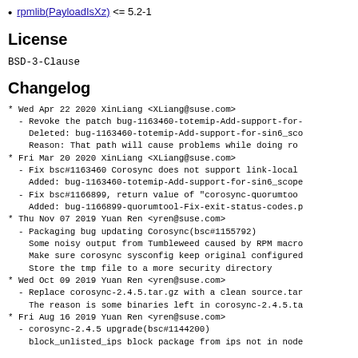rpmlib(PayloadIsXz) <= 5.2-1
License
BSD-3-Clause
Changelog
* Wed Apr 22 2020 XinLiang <XLiang@suse.com>
  - Revoke the patch bug-1163460-totemip-Add-support-for-
    Deleted: bug-1163460-totemip-Add-support-for-sin6_sco
    Reason: That path will cause problems while doing ro
* Fri Mar 20 2020 XinLiang <XLiang@suse.com>
  - Fix bsc#1163460 Corosync does not support link-local
    Added: bug-1163460-totemip-Add-support-for-sin6_scope
  - Fix bsc#1166899, return value of "corosync-quorumtoo
    Added: bug-1166899-quorumtool-Fix-exit-status-codes.p
* Thu Nov 07 2019 Yuan Ren <yren@suse.com>
  - Packaging bug updating Corosync(bsc#1155792)
    Some noisy output from Tumbleweed caused by RPM macro
    Make sure corosync sysconfig keep original configured
    Store the tmp file to a more security directory
* Wed Oct 09 2019 Yuan Ren <yren@suse.com>
  - Replace corosync-2.4.5.tar.gz with a clean source.tar
    The reason is some binaries left in corosync-2.4.5.ta
* Fri Aug 16 2019 Yuan Ren <yren@suse.com>
  - corosync-2.4.5 upgrade(bsc#1144200)
    block_unlisted_ips block package from ips not in node